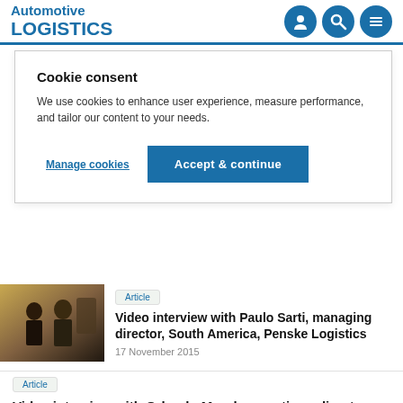Automotive LOGISTICS
Cookie consent
We use cookies to enhance user experience, measure performance, and tailor our content to your needs.
Manage cookies
Accept & continue
[Figure (photo): Two men in business attire at a conference or event]
Article
Video interview with Paulo Sarti, managing director, South America, Penske Logistics
17 November 2015
Article
Video interview with Orlando Moral, operations director, Chery Brazil